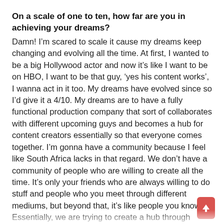On a scale of one to ten, how far are you in achieving your dreams?
Damn! I'm scared to scale it cause my dreams keep changing and evolving all the time. At first, I wanted to be a big Hollywood actor and now it's like I want to be on HBO, I want to be that guy, 'yes his content works', I wanna act in it too. My dreams have evolved since so I'd give it a 4/10. My dreams are to have a fully functional production company that sort of collaborates with different upcoming guys and becomes a hub for content creators essentially so that everyone comes together. I'm gonna have a community because I feel like South Africa lacks in that regard. We don't have a community of people who are willing to create all the time. It's only your friends who are always willing to do stuff and people who you meet through different mediums, but beyond that, it's like people you know. Essentially, we are trying to create a hub through Outre' where everyone comes together and we have this database where you can find different... It's like a LinkedIn, you come in and you can find